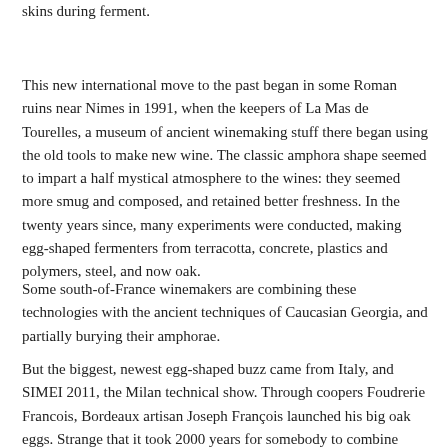skins during ferment.
This new international move to the past began in some Roman ruins near Nimes in 1991, when the keepers of La Mas de Tourelles, a museum of ancient winemaking stuff there began using the old tools to make new wine. The classic amphora shape seemed to impart a half mystical atmosphere to the wines: they seemed more smug and composed, and retained better freshness. In the twenty years since, many experiments were conducted, making egg-shaped fermenters from terracotta, concrete, plastics and polymers, steel, and now oak.
Some south-of-France winemakers are combining these technologies with the ancient techniques of Caucasian Georgia, and partially burying their amphorae.
But the biggest, newest egg-shaped buzz came from Italy, and SIMEI 2011, the Milan technical show.  Through coopers Foudrerie Francois, Bordeaux artisan Joseph François launched his big oak eggs.  Strange that it took 2000 years for somebody to combine Christ's water-into-wine pots with his first employment, carpentry.